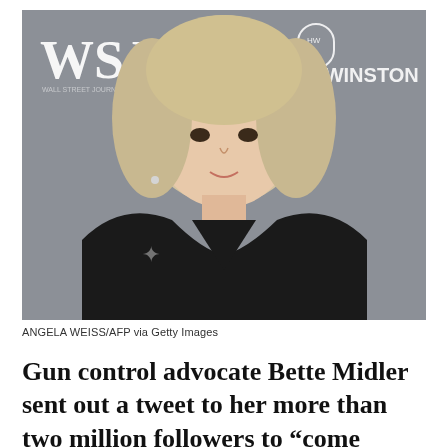[Figure (photo): A woman with short blonde hair wearing a black top, photographed at a WSJ event. Backdrop shows WSJ logos and 'HARRY WINSTON' text. Photo credit: ANGELA WEISS/AFP via Getty Images.]
ANGELA WEISS/AFP via Getty Images
Gun control advocate Bette Midler sent out a tweet to her more than two million followers to “come armed” and protest a National Rifle Association conference in Texas the weekend following the mass